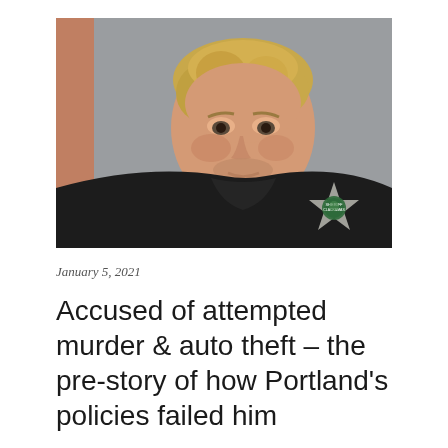[Figure (photo): Mugshot of a young man with blonde hair wearing a black hoodie. A Clackamas County Sheriff star badge is visible on the lower right of the image.]
January 5, 2021
Accused of attempted murder & auto theft – the pre-story of how Portland's policies failed him